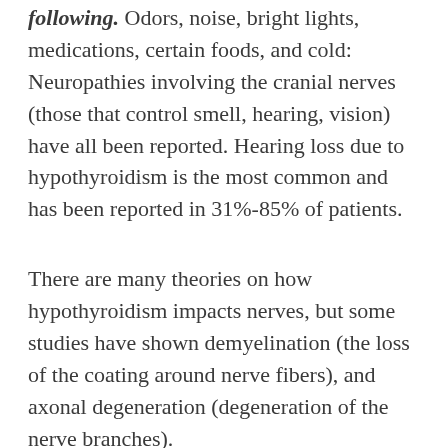following. Odors, noise, bright lights, medications, certain foods, and cold: Neuropathies involving the cranial nerves (those that control smell, hearing, vision) have all been reported. Hearing loss due to hypothyroidism is the most common and has been reported in 31%-85% of patients.
There are many theories on how hypothyroidism impacts nerves, but some studies have shown demyelination (the loss of the coating around nerve fibers), and axonal degeneration (degeneration of the nerve branches).